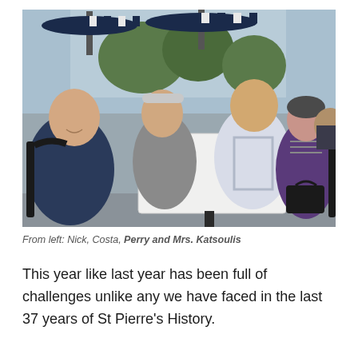[Figure (photo): Four people seated around a white outdoor cafe table. From left: a bald man in a dark navy shirt smiling at camera, a man in a grey button-up shirt, a man in a light checked shirt, and an older woman in a purple cardigan with a black handbag. Striped umbrellas and trees visible in the background through glass windows.]
From left: Nick, Costa, Perry and Mrs. Katsoulis
This year like last year has been full of challenges unlike any we have faced in the last 37 years of St Pierre's History.